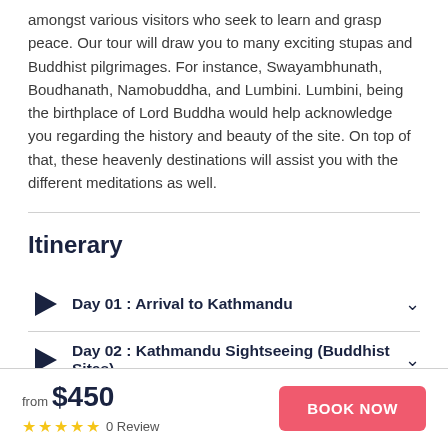amongst various visitors who seek to learn and grasp peace. Our tour will draw you to many exciting stupas and Buddhist pilgrimages. For instance, Swayambhunath, Boudhanath, Namobuddha, and Lumbini. Lumbini, being the birthplace of Lord Buddha would help acknowledge you regarding the history and beauty of the site. On top of that, these heavenly destinations will assist you with the different meditations as well.
Itinerary
Day 01 : Arrival to Kathmandu
Day 02 : Kathmandu Sightseeing (Buddhist Sites)
from $450  0 Review  BOOK NOW